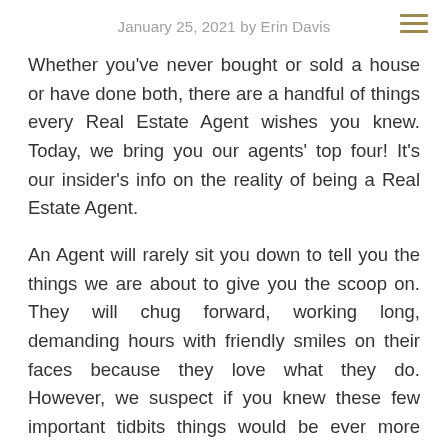January 25, 2021 by Erin Davis
Whether you’ve never bought or sold a house or have done both, there are a handful of things every Real Estate Agent wishes you knew. Today, we bring you our agents’ top four! It’s our insider’s info on the reality of being a Real Estate Agent.
An Agent will rarely sit you down to tell you the things we are about to give you the scoop on. They will chug forward, working long, demanding hours with friendly smiles on their faces because they love what they do. However, we suspect if you knew these few important tidbits things would be ever more smooth for both you and your agent! So, with the hopes of shining light into the lesser known parts of our industry (and to help you, help us the next